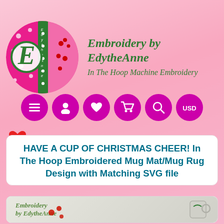[Figure (logo): Circular logo for Embroidery by EdytheAnne with pink polka dot background, large letter E in green, and vertical banner text]
Embroidery by EdytheAnne
In The Hoop Machine Embroidery
[Figure (infographic): Navigation button row: 6 magenta/purple circular buttons with icons: hamburger menu, user/person, heart, shopping cart, magnifying glass/search, USD currency]
[Figure (illustration): Red heart icon]
HAVE A CUP OF CHRISTMAS CHEER! In The Hoop Embroidered Mug Mat/Mug Rug Design with Matching SVG file
[Figure (photo): Product preview image showing embroidery design with Embroidery by EdytheAnne logo text and red flowers on a light background]